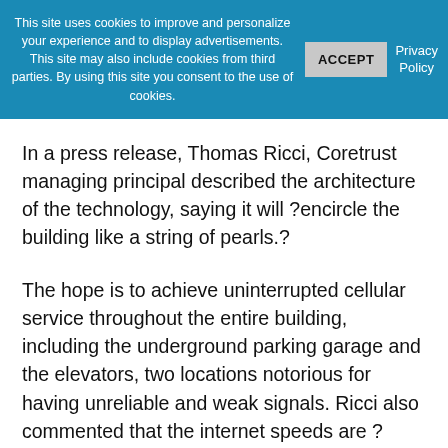This site uses cookies to improve and personalize your experience and to display advertisements. This site may also include cookies from third parties. By using this site you consent to the use of cookies.
ACCEPT
Privacy Policy
In a press release, Thomas Ricci, Coretrust managing principal described the architecture of the technology, saying it will ?encircle the building like a string of pearls.?
The hope is to achieve uninterrupted cellular service throughout the entire building, including the underground parking garage and the elevators, two locations notorious for having unreliable and weak signals. Ricci also commented that the internet speeds are ?lightning fast? and will be able to handle any size document, video